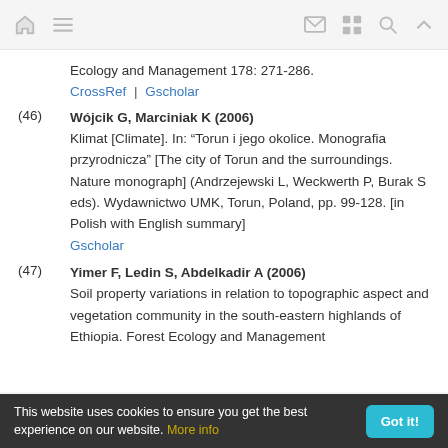[navigation icons: home, menu, mail, grid, search, up]
Ecology and Management 178: 271-286.
CrossRef | Gscholar
Wójcik G, Marciniak K (2006) Klimat [Climate]. In: "Torun i jego okolice. Monografia przyrodnicza" [The city of Torun and the surroundings. Nature monograph] (Andrzejewski L, Weckwerth P, Burak S eds). Wydawnictwo UMK, Torun, Poland, pp. 99-128. [in Polish with English summary]
Gscholar
Yimer F, Ledin S, Abdelkadir A (2006) Soil property variations in relation to topographic aspect and vegetation community in the south-eastern highlands of Ethiopia. Forest Ecology and Management
This website uses cookies to ensure you get the best experience on our website. More info | Got it!